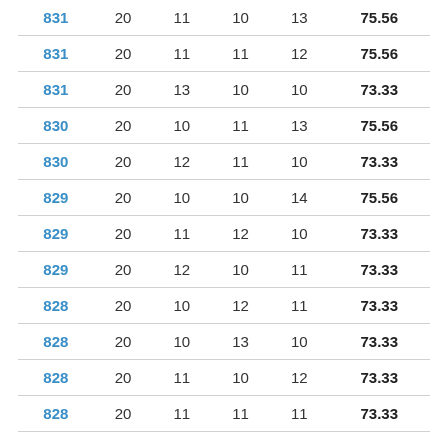| 831 | 20 | 11 | 10 | 13 | 75.56 |
| 831 | 20 | 11 | 11 | 12 | 75.56 |
| 831 | 20 | 13 | 10 | 10 | 73.33 |
| 830 | 20 | 10 | 11 | 13 | 75.56 |
| 830 | 20 | 12 | 11 | 10 | 73.33 |
| 829 | 20 | 10 | 10 | 14 | 75.56 |
| 829 | 20 | 11 | 12 | 10 | 73.33 |
| 829 | 20 | 12 | 10 | 11 | 73.33 |
| 828 | 20 | 10 | 12 | 11 | 73.33 |
| 828 | 20 | 10 | 13 | 10 | 73.33 |
| 828 | 20 | 11 | 10 | 12 | 73.33 |
| 828 | 20 | 11 | 11 | 11 | 73.33 |